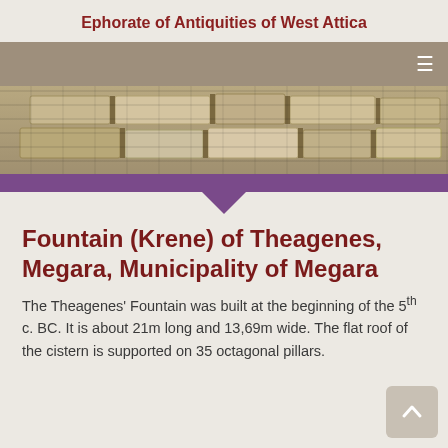Ephorate of Antiquities of West Attica
[Figure (photo): Stone ruins photograph showing ancient stonework, with navigation bar overlay containing hamburger menu icon]
Fountain (Krene) of Theagenes, Megara, Municipality of Megara
The Theagenes' Fountain was built at the beginning of the 5th c. BC. It is about 21m long and 13,69m wide. The flat roof of the cistern is supported on 35 octagonal pillars.